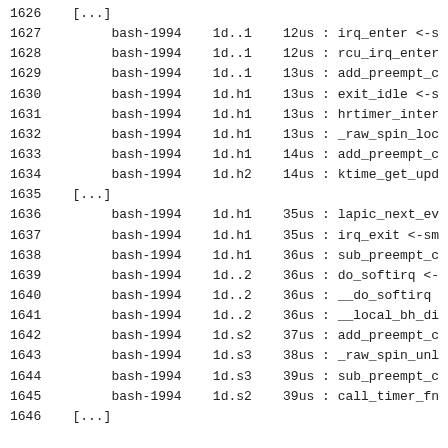1626    [...]
1627         bash-1994    1d..1    12us : irq_enter <-s
1628         bash-1994    1d..1    12us : rcu_irq_enter
1629         bash-1994    1d..1    13us : add_preempt_c
1630         bash-1994    1d.h1    13us : exit_idle <-s
1631         bash-1994    1d.h1    13us : hrtimer_inter
1632         bash-1994    1d.h1    13us : _raw_spin_loc
1633         bash-1994    1d.h1    14us : add_preempt_c
1634         bash-1994    1d.h2    14us : ktime_get_upd
1635    [...]
1636         bash-1994    1d.h1    35us : lapic_next_ev
1637         bash-1994    1d.h1    35us : irq_exit <-sm
1638         bash-1994    1d.h1    36us : sub_preempt_c
1639         bash-1994    1d..2    36us : do_softirq <-
1640         bash-1994    1d..2    36us : __do_softirq
1641         bash-1994    1d..2    36us : __local_bh_di
1642         bash-1994    1d.s2    37us : add_preempt_c
1643         bash-1994    1d.s3    38us : _raw_spin_unl
1644         bash-1994    1d.s3    39us : sub_preempt_c
1645         bash-1994    1d.s2    39us : call_timer_fn
1646    [...]